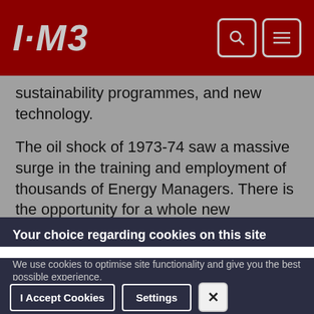I·M3
sustainability programmes, and new technology.
The oil shock of 1973-74 saw a massive surge in the training and employment of thousands of Energy Managers. There is the opportunity for a whole new generation of Energy and Carbon
Your choice regarding cookies on this site
We use cookies to optimise site functionality and give you the best possible experience.
I Accept Cookies | Settings | X